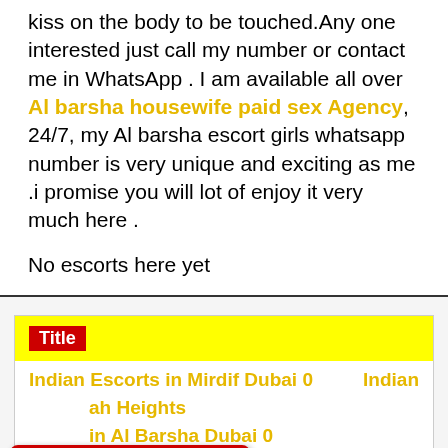kiss on the body to be touched.Any one interested just call my number or contact me in WhatsApp . I am available all over Al barsha housewife paid sex Agency, 24/7, my Al barsha escort girls whatsapp number is very unique and exciting as me .i promise you will lot of enjoy it very much here .
No escorts here yet
| Title |
| --- |
| Indian Escorts in Mirdif Dubai 0 | Indian |
| ...ah Heights |  |
| ...in Al Barsha Dubai 0 |  |
| Indian Call Girls In Discovery Gardens Dubai |  |
| pakistani |  |
[Figure (infographic): Red Call Now badge with phone icon and number +971555228626]
[Figure (infographic): Dark red WhatsApp us banner with WhatsApp icon and number +971555228626]